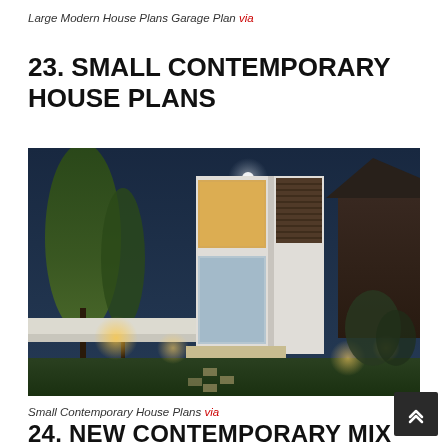Large Modern House Plans Garage Plan via
23. SMALL CONTEMPORARY HOUSE PLANS
[Figure (photo): Night-time exterior photo of a small contemporary house with white modern facade, large windows, wooden blinds, surrounded by trees and landscaped garden with stepping stones leading to entrance]
Small Contemporary House Plans via
24. NEW CONTEMPORARY MIX